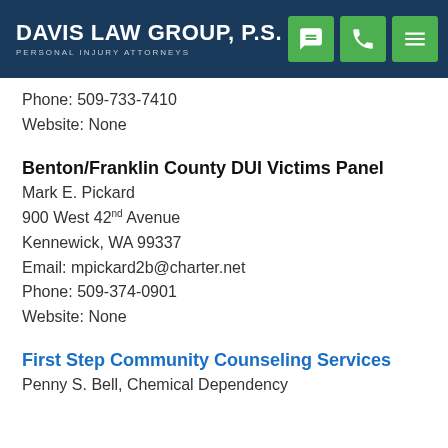Davis Law Group, P.S. — Personal Injury Attorneys
Phone: 509-733-7410
Website: None
Benton/Franklin County DUI Victims Panel
Mark E. Pickard
900 West 42nd Avenue
Kennewick, WA 99337
Email: mpickard2b@charter.net
Phone: 509-374-0901
Website: None
First Step Community Counseling Services
Penny S. Bell, Chemical Dependency